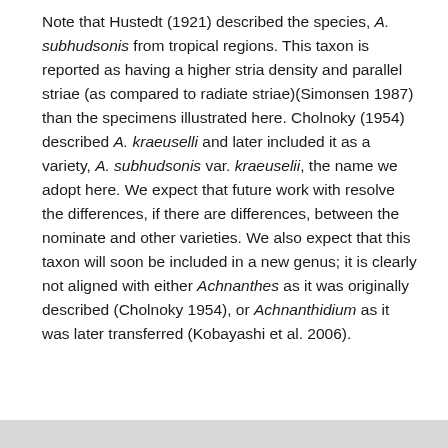Note that Hustedt (1921) described the species, A. subhudsonis from tropical regions. This taxon is reported as having a higher stria density and parallel striae (as compared to radiate striae)(Simonsen 1987) than the specimens illustrated here. Cholnoky (1954) described A. kraeuselli and later included it as a variety, A. subhudsonis var. kraeuselii, the name we adopt here. We expect that future work with resolve the differences, if there are differences, between the nominate and other varieties. We also expect that this taxon will soon be included in a new genus; it is clearly not aligned with either Achnanthes as it was originally described (Cholnoky 1954), or Achnanthidium as it was later transferred (Kobayashi et al. 2006).